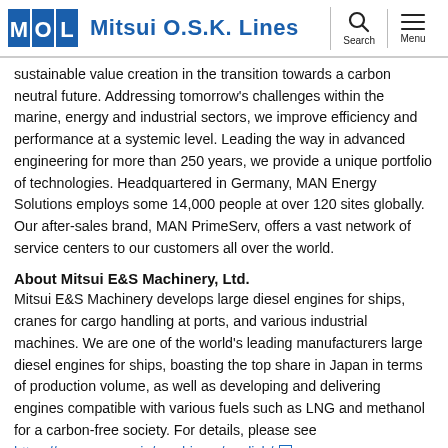Mitsui O.S.K. Lines
sustainable value creation in the transition towards a carbon neutral future. Addressing tomorrow's challenges within the marine, energy and industrial sectors, we improve efficiency and performance at a systemic level. Leading the way in advanced engineering for more than 250 years, we provide a unique portfolio of technologies. Headquartered in Germany, MAN Energy Solutions employs some 14,000 people at over 120 sites globally. Our after-sales brand, MAN PrimeServ, offers a vast network of service centers to our customers all over the world.
About Mitsui E&S Machinery, Ltd.
Mitsui E&S Machinery develops large diesel engines for ships, cranes for cargo handling at ports, and various industrial machines. We are one of the world's leading manufacturers large diesel engines for ships, boasting the top share in Japan in terms of production volume, as well as developing and delivering engines compatible with various fuels such as LNG and methanol for a carbon-free society. For details, please see https://www.mes.co.jp/machinery/english/ .